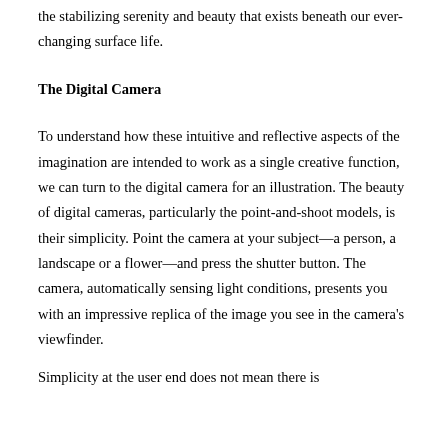the stabilizing serenity and beauty that exists beneath our ever-changing surface life.
The Digital Camera
To understand how these intuitive and reflective aspects of the imagination are intended to work as a single creative function, we can turn to the digital camera for an illustration. The beauty of digital cameras, particularly the point-and-shoot models, is their simplicity. Point the camera at your subject—a person, a landscape or a flower—and press the shutter button. The camera, automatically sensing light conditions, presents you with an impressive replica of the image you see in the camera's viewfinder.
Simplicity at the user end does not mean there is